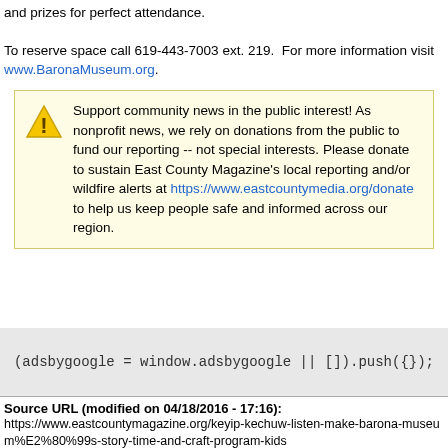and prizes for perfect attendance. To reserve space call 619-443-7003 ext. 219.  For more information visit www.BaronaMuseum.org.
Support community news in the public interest! As nonprofit news, we rely on donations from the public to fund our reporting -- not special interests. Please donate to sustain East County Magazine's local reporting and/or wildfire alerts at https://www.eastcountymedia.org/donate to help us keep people safe and informed across our region.
(adsbygoogle = window.adsbygoogle || []).push({});
Source URL (modified on 04/18/2016 - 17:16): https://www.eastcountymagazine.org/keyip-kechuw-listen-make-barona-museum%E2%80%99s-story-time-and-craft-program-kids